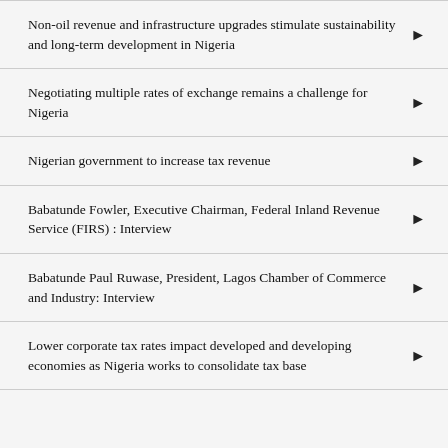Non-oil revenue and infrastructure upgrades stimulate sustainability and long-term development in Nigeria
Negotiating multiple rates of exchange remains a challenge for Nigeria
Nigerian government to increase tax revenue
Babatunde Fowler, Executive Chairman, Federal Inland Revenue Service (FIRS) : Interview
Babatunde Paul Ruwase, President, Lagos Chamber of Commerce and Industry: Interview
Lower corporate tax rates impact developed and developing economies as Nigeria works to consolidate tax base